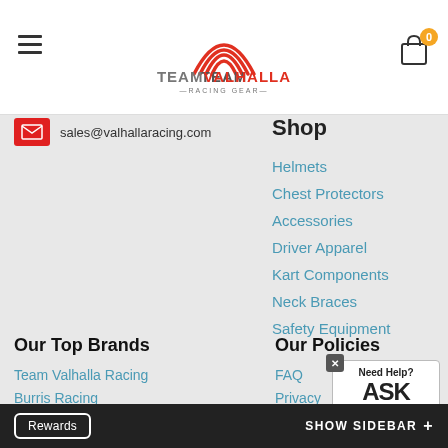[Figure (logo): Team Valhalla Racing Gear logo with red arc lines above text]
sales@valhallaracing.com
Shop
Helmets
Chest Protectors
Accessories
Driver Apparel
Kart Components
Neck Braces
Safety Equipment
Our Top Brands
Team Valhalla Racing
Burris Racing
Zamp
Pyrotect
Our Policies
FAQ
Privacy
Returns
Shipping
[Figure (other): Need Help? ASK An Expert widget with close button]
Rewards   SHOW SIDEBAR +